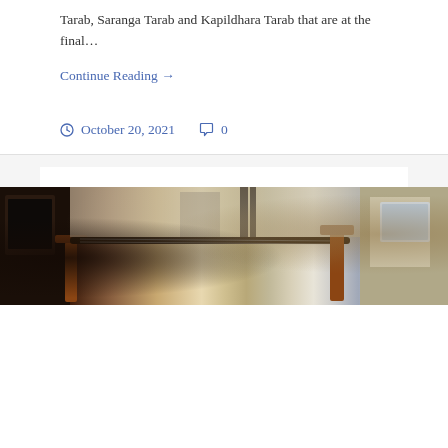Tarab, Saranga Tarab and Kapildhara Tarab that are at the final…
Continue Reading →
October 20, 2021   0
Panchkroshi Yatra: Shivpur Temple, Shivpur Village, Varanasi District, Uttar Pradesh
[Figure (photo): Interior of a temple or room showing a stringed instrument (possibly a veena or sitar) resting on a wooden stand, with walls and various objects in the background.]